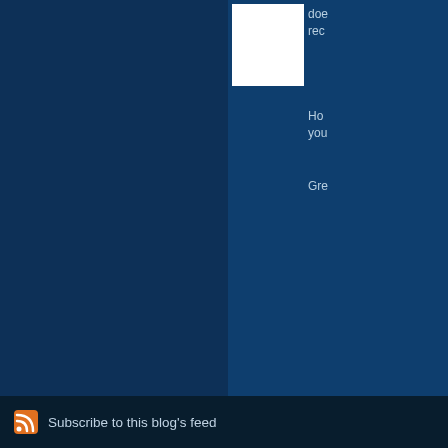[Figure (screenshot): Partial screenshot of a blog website with dark blue background. Right panel shows blog content with a white image placeholder and partial text. Lower section shows a 'Final Book' entry. Footer shows RSS subscribe link.]
doe rec
Ho you
Gre
The comments to t
P
Final Book Here m
Subscribe to this blog's feed